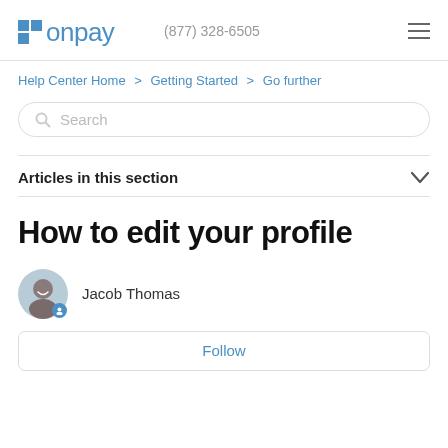[Figure (logo): OnPay logo with blue squares and text]
(877) 328-6505
Help Center Home > Getting Started > Go further
Search
Articles in this section
How to edit your profile
Jacob Thomas
Follow